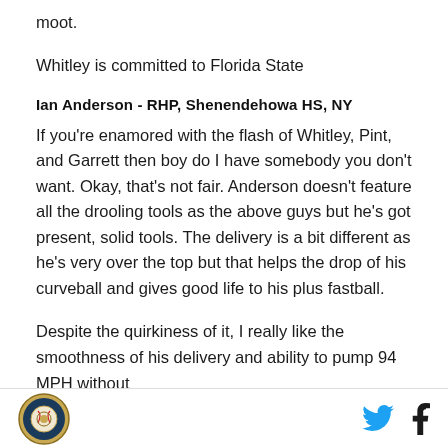moot.
Whitley is committed to Florida State
Ian Anderson - RHP, Shenendehowa HS, NY
If you're enamored with the flash of Whitley, Pint, and Garrett then boy do I have somebody you don't want. Okay, that's not fair. Anderson doesn't feature all the drooling tools as the above guys but he's got present, solid tools. The delivery is a bit different as he's very over the top but that helps the drop of his curveball and gives good life to his plus fastball.
Despite the quirkiness of it, I really like the smoothness of his delivery and ability to pump 94 MPH without
Logo | Twitter | Facebook